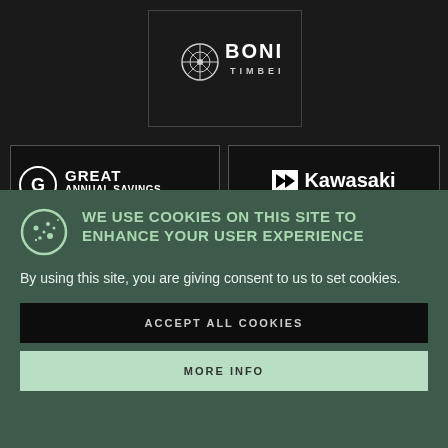[Figure (logo): Bond Timber logo in white text with a decorative circular tree/snowflake icon, on dark background]
[Figure (logo): Great Annual Savings Group logo with circular G icon, white text on dark background]
[Figure (logo): Kawasaki logo with K emblem and tagline 'Powering your potential' in white on dark background]
WE USE COOKIES ON THIS SITE TO ENHANCE YOUR USER EXPERIENCE
By using this site, you are giving consent to us to set cookies.
ACCEPT ALL COOKIES
MORE INFO